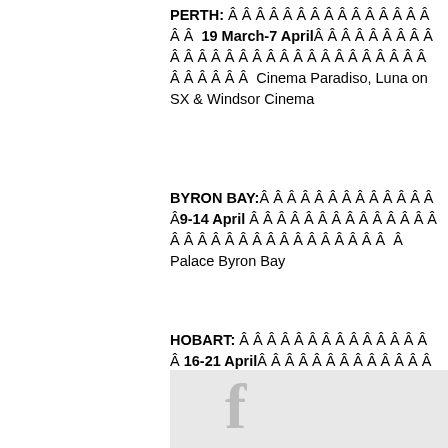PERTH: Â Â Â Â Â Â Â Â Â Â Â Â Â Â Â Â Â  19 March-7 April Â Â Â Â Â Â Â Â Â Â Â Â Â Â Â Â Â Â Â Â Â Â Â Â Â Â Â Â Â Â Â Â Â  Cinema Paradiso, Luna on SX & Windsor Cinema
BYRON BAY: Â Â Â Â Â Â Â Â Â Â Â Â Â 9-14 April Â Â Â Â Â Â Â Â Â Â Â Â Â Â Â Â Â Â Â Â Â Â Â Â  Palace Byron Bay
HOBART: Â Â Â Â Â Â Â Â Â Â Â Â Â Â Â 16-21 April Â Â Â Â Â Â Â Â Â Â Â Â Â Â Â Â Â Â Â Â Â Â Â Â Â Â Â Â  State Cinema Theatre
TAGS
alliance franÃ§aise
Alliance FranÃ§aise French Film Festival
film festival
french
[Figure (logo): Facebook logo letter f in grey on light grey background]